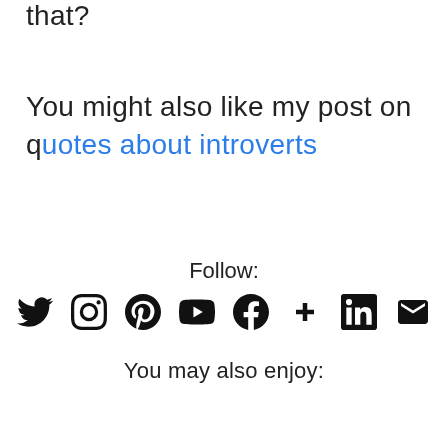that?
You might also like my post on quotes about introverts
Follow:
[Figure (infographic): Row of social media icons: Twitter, Instagram, Pinterest, YouTube, Facebook, Plus/Google+, LinkedIn, Email]
You may also enjoy: